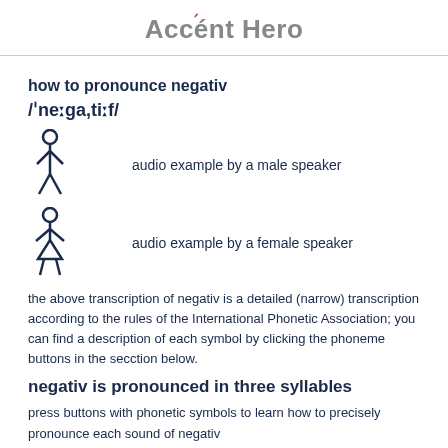Accént Hero
how to pronounce negativ /ˈneːga,tiːf/
[Figure (illustration): Male speaker icon with text 'audio example by a male speaker']
[Figure (illustration): Female speaker icon with text 'audio example by a female speaker']
the above transcription of negativ is a detailed (narrow) transcription according to the rules of the International Phonetic Association; you can find a description of each symbol by clicking the phoneme buttons in the secction below.
negativ is pronounced in three syllables
press buttons with phonetic symbols to learn how to precisely pronounce each sound of negativ